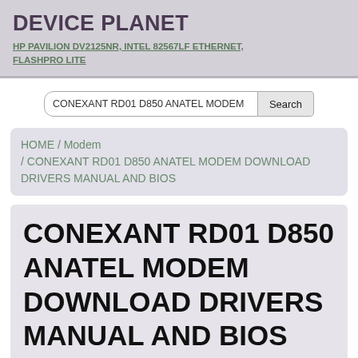DEVICE PLANET
HP PAVILION DV2125NR, INTEL 82567LF ETHERNET, FLASHPRO LITE
CONEXANT RD01 D850 ANATEL MODEM  Search
HOME / Modem / CONEXANT RD01 D850 ANATEL MODEM DOWNLOAD DRIVERS MANUAL AND BIOS
CONEXANT RD01 D850 ANATEL MODEM DOWNLOAD DRIVERS MANUAL AND BIOS